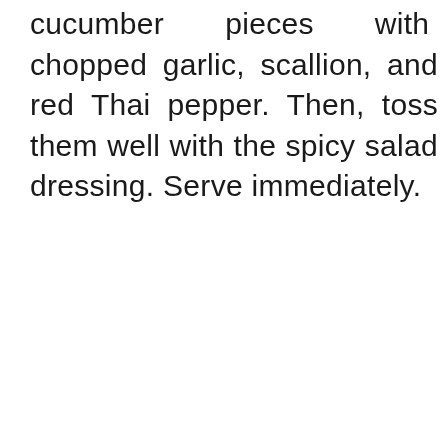cucumber pieces with chopped garlic, scallion, and red Thai pepper. Then, toss them well with the spicy salad dressing. Serve immediately.